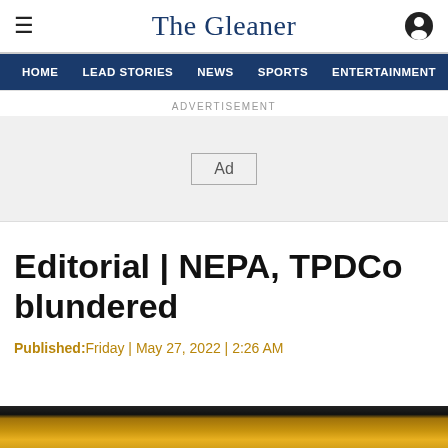The Gleaner
HOME | LEAD STORIES | NEWS | SPORTS | ENTERTAINMENT
ADVERTISEMENT
[Figure (other): Advertisement placeholder box labeled 'Ad']
Editorial | NEPA, TPDCo blundered
Published:Friday | May 27, 2022 | 2:26 AM
[Figure (photo): Bottom image strip showing a lion or animal with golden fur]